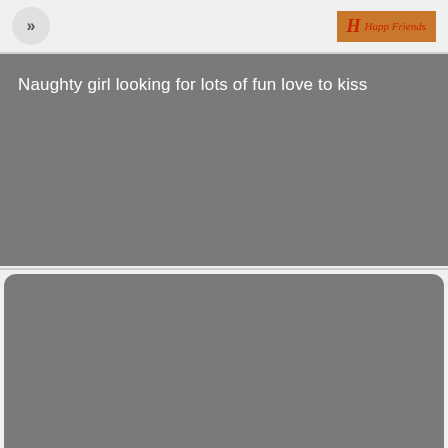>> | Happ Friends
Naughty girl looking for lots of fun love to kiss
Looking for a nice pussy you can lay with me in bed